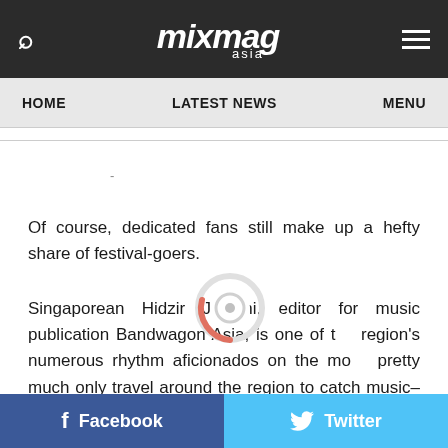mixmag asia — HOME | LATEST NEWS | MENU
Of course, dedicated fans still make up a hefty share of festival-goers.
Singaporean Hidzir Junaini, editor for music publication Bandwagon Asia, is one of the region's numerous rhythm aficionados on the mo... pretty much only travel around the region to catch music–at least every 3 to 4 months depending if I b... LOADING ...if from work."
Facebook   Twitter